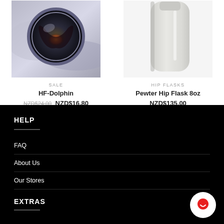[Figure (photo): Close-up of a metallic flask/thermos on silvery fabric background with orange flame reflection visible]
SALE
HF-Dolphin
NZD$24.00  NZD$16.80
[Figure (photo): White/light grey hip flask on white background]
HIP FLASKS
Pewter Hip Flask 8oz
NZD$135.00
HELP
FAQ
About Us
Our Stores
EXTRAS